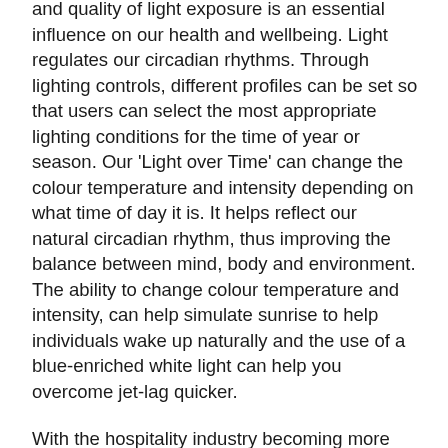and quality of light exposure is an essential influence on our health and wellbeing. Light regulates our circadian rhythms. Through lighting controls, different profiles can be set so that users can select the most appropriate lighting conditions for the time of year or season. Our 'Light over Time' can change the colour temperature and intensity depending on what time of day it is. It helps reflect our natural circadian rhythm, thus improving the balance between mind, body and environment. The ability to change colour temperature and intensity, can help simulate sunrise to help individuals wake up naturally and the use of a blue-enriched white light can help you overcome jet-lag quicker.
With the hospitality industry becoming more competitive than ever, hoteliers are having to refresh their offering and create unique experiences by improving materials, decor, music and lighting, all whilst complementing each other. In an ideal scenario, there